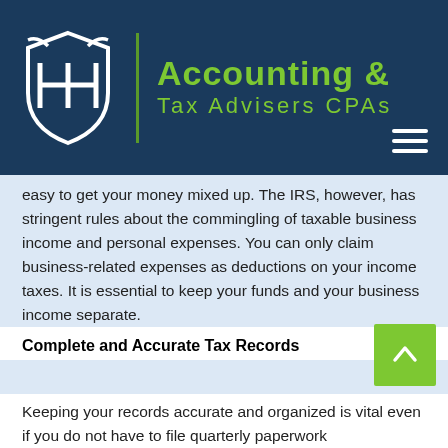[Figure (logo): Accounting & Tax Advisers CPAs logo with shield icon and green text on dark blue header background]
easy to get your money mixed up. The IRS, however, has stringent rules about the commingling of taxable business income and personal expenses. You can only claim business-related expenses as deductions on your income taxes. It is essential to keep your funds and your business income separate.
Complete and Accurate Tax Records
Keeping your records accurate and organized is vital even if you do not have to file quarterly paperwork